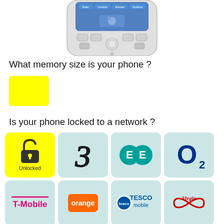[Figure (photo): Bottom half of a white HTC Android smartphone showing buttons, trackball, and screen with Dialer, Contacts, Browser, Vodafone icons]
What memory size is your phone ?
[Figure (other): Yellow rectangle button/selector]
Is your phone locked to a network ?
[Figure (infographic): Grid of network carrier tiles: Unlocked (yellow), Three, EE, O2, T-Mobile, Orange, Tesco Mobile, Virgin]